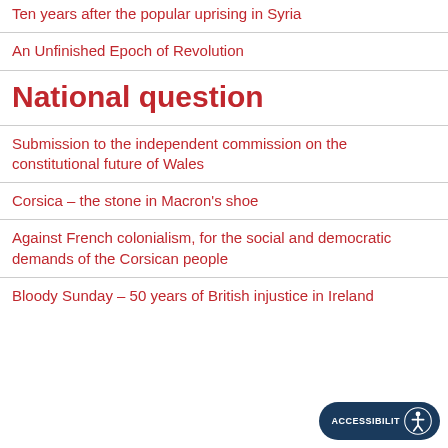Ten years after the popular uprising in Syria
An Unfinished Epoch of Revolution
National question
Submission to the independent commission on the constitutional future of Wales
Corsica – the stone in Macron's shoe
Against French colonialism, for the social and democratic demands of the Corsican people
Bloody Sunday – 50 years of British injustice in Ireland